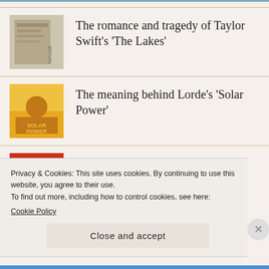The romance and tragedy of Taylor Swift's 'The Lakes'
The meaning behind Lorde's 'Solar Power'
So, what does 'Watermelon Sugar' mean?
Privacy & Cookies: This site uses cookies. By continuing to use this website, you agree to their use.
To find out more, including how to control cookies, see here:
Cookie Policy
Close and accept